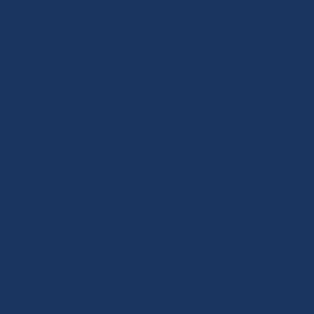http://www.role...
http://www.ome...
http://www.nike...
http://www.truer...
http://www.micl...
http://www.swa...
http://www.pum...
http://www.coac...
http://www.louis...
11:29 AM
Unknown said.
20170402 junda
coach outlet on
ray-ban sungla
ralph lauren
coach outlet cle
mulberry hand
yeezy boost
oakley sunglass
ray ban sunglas
giuseppe zanot